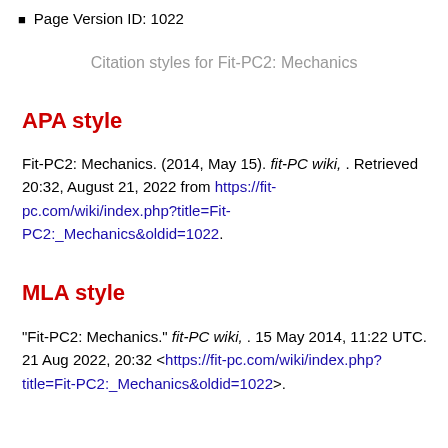Page Version ID: 1022
Citation styles for Fit-PC2: Mechanics
APA style
Fit-PC2: Mechanics. (2014, May 15). fit-PC wiki, . Retrieved 20:32, August 21, 2022 from https://fit-pc.com/wiki/index.php?title=Fit-PC2:_Mechanics&oldid=1022.
MLA style
"Fit-PC2: Mechanics." fit-PC wiki, . 15 May 2014, 11:22 UTC. 21 Aug 2022, 20:32 <https://fit-pc.com/wiki/index.php?title=Fit-PC2:_Mechanics&oldid=1022>.